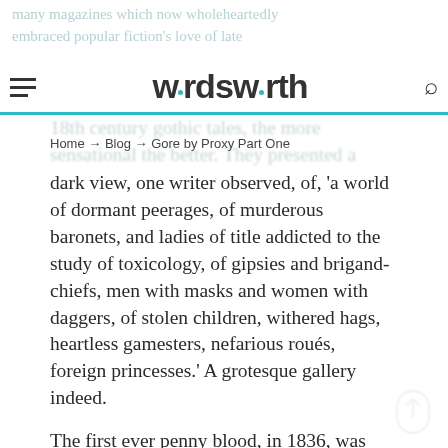wordsworth
Home → Blog → Gore by Proxy Part One
dark view, one writer observed, of, 'a world of dormant peerages, of murderous baronets, and ladies of title addicted to the study of toxicology, of gipsies and brigand-chiefs, men with masks and women with daggers, of stolen children, withered hags, heartless gamesters, nefarious roués, foreign princesses.' A grotesque gallery indeed.
The first ever penny blood, in 1836, was Lives of the Most Notorious Highwaymen, Footpads, &c., in sixty parts. Highwaymen featured greatly in these periodicals